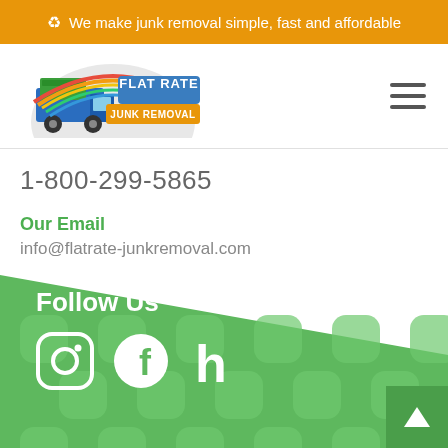We make junk removal simple, fast and affordable
[Figure (logo): Flat Rate Junk Removal logo with truck and rainbow graphic]
1-800-299-5865
Our Email
info@flatrate-junkremoval.com
Follow Us
[Figure (infographic): Social media icons for Instagram, Facebook, and Houzz on green patterned background]